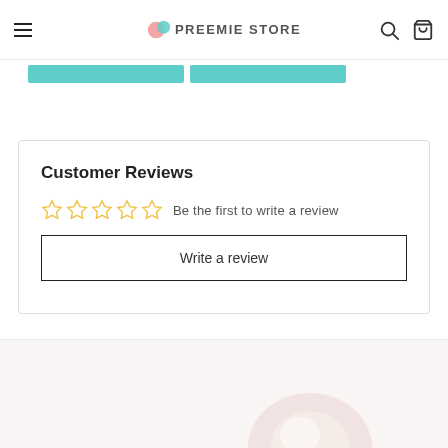Preemie Store
Customer Reviews
Be the first to write a review
Write a review
[Figure (photo): Product image at the bottom of the page, partially visible, showing a round light-colored baby item on a light pink/beige background.]